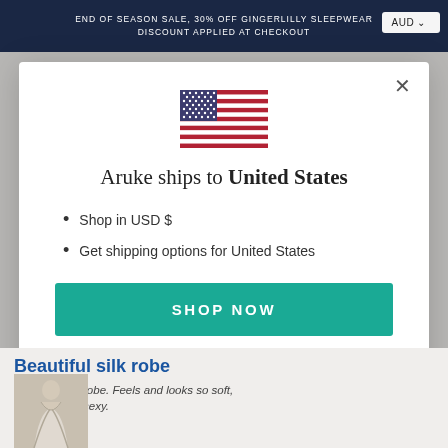END OF SEASON SALE, 30% OFF GINGERLILLY SLEEPWEAR
DISCOUNT APPLIED AT CHECKOUT
AUD
MENU   Aruke
[Figure (screenshot): Modal dialog showing US flag, 'Aruke ships to United States', bullet list with 'Shop in USD $' and 'Get shipping options for United States', a teal SHOP NOW button, and a CHANGE SHIPPING COUNTRY link]
Beautiful silk robe
Love this silk robe. Feels and looks so soft, feminine and sexy.